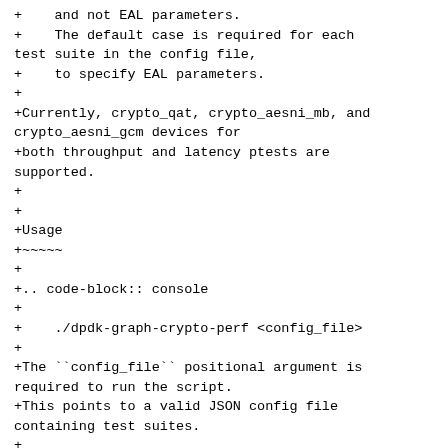+    and not EAL parameters.
+    The default case is required for each test suite in the config file,
+    to specify EAL parameters.
+
+Currently, crypto_qat, crypto_aesni_mb, and crypto_aesni_gcm devices for
+both throughput and latency ptests are supported.
+
+
+Usage
+~~~~~
+
+.. code-block:: console
+
+    ./dpdk-graph-crypto-perf <config_file>
+
+The ``config_file`` positional argument is required to run the script.
+This points to a valid JSON config file containing test suites.
+
+.. code-block:: console
+
+    ./dpdk-graph-crypto-perf configs/crypto-perf-aesni-mb.json
+
+The following are the application optional command-line options: